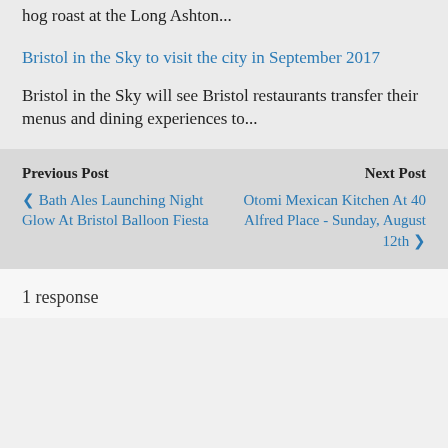hog roast at the Long Ashton...
Bristol in the Sky to visit the city in September 2017
Bristol in the Sky will see Bristol restaurants transfer their menus and dining experiences to...
Previous Post | Next Post | Bath Ales Launching Night Glow At Bristol Balloon Fiesta | Otomi Mexican Kitchen At 40 Alfred Place - Sunday, August 12th
1 response